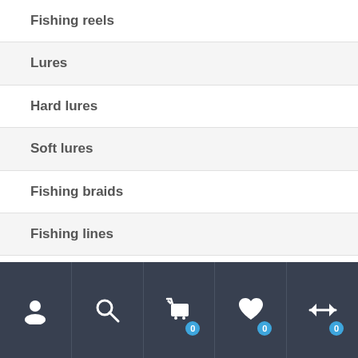Fishing reels
Lures
Hard lures
Soft lures
Fishing braids
Fishing lines
Jigheads
Terminal tackle
Accessories
User | Search | Cart 0 | Wishlist 0 | Compare 0